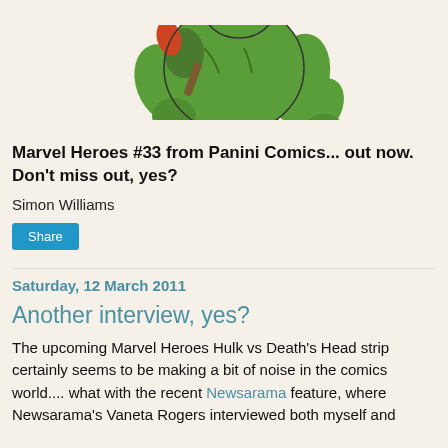[Figure (illustration): Comic book illustration showing the Hulk (large green muscular character in purple pants) grappling with another green character (Death's Head), partially visible at top of page]
Marvel Heroes #33 from Panini Comics... out now. Don't miss out, yes?
Simon Williams
Share
Saturday, 12 March 2011
Another interview, yes?
The upcoming Marvel Heroes Hulk vs Death's Head strip certainly seems to be making a bit of noise in the comics world.... what with the recent Newsarama feature, where Newsarama's Vaneta Rogers interviewed both myself and